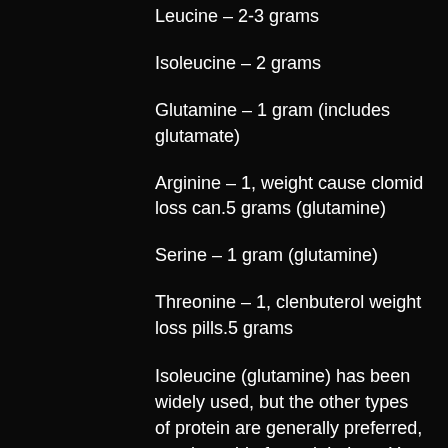Leucine – 2-3 grams
Isoleucine – 2 grams
Glutamine – 1 gram (includes glutamate)
Arginine – 1, weight cause clomid loss can.5 grams (glutamine)
Serine – 1 gram (glutamine)
Threonine – 1, clenbuterol weight loss pills.5 grams
Isoleucine (glutamine) has been widely used, but the other types of protein are generally preferred, good peptide for weight loss. You can view the amino acid profiles of other types in this article.
Some of the amino acids like lysine also require that you eat the right type of food for